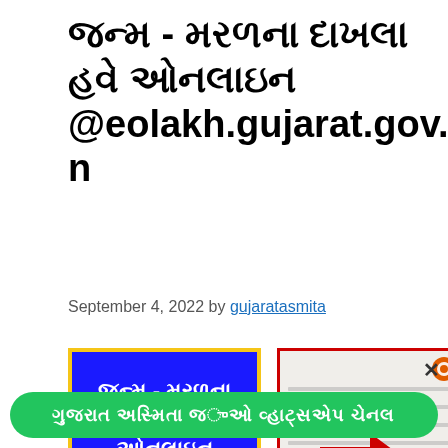જન્મ - મRaણ ના દાXla @eolakh.gujarat.gov.in
September 4, 2022 by gujaratasmita
[Figure (photo): Blue banner image with Gujarati text about birth-death certificates online, with yellow border]
[Figure (photo): Government document/certificate with red border and red arrow pointing to a field, with orange logo in top right]
×
Gujarati text button in green bar at bottom of page